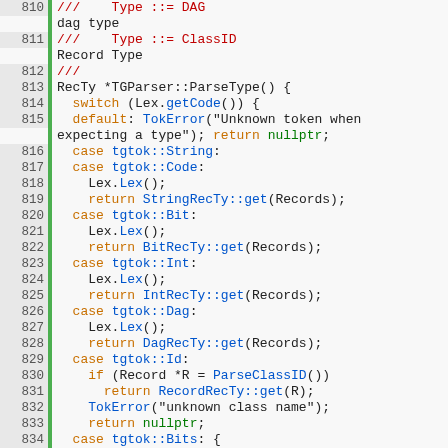Code listing lines 810-839, C++ source code for TGParser::ParseType()